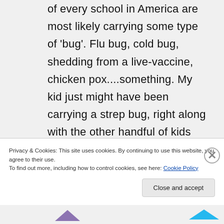of every school in America are most likely carrying some type of 'bug'. Flu bug, cold bug, shedding from a live-vaccine, chicken pox....something. My kid just might have been carrying a strep bug, right along with the other handful of kids doing the same thing. Truth is, though, after all of the immune-system building and cleansing of her system, she was more likely the cleanest, most bug-free kid in the whole school.
Privacy & Cookies: This site uses cookies. By continuing to use this website, you agree to their use.
To find out more, including how to control cookies, see here: Cookie Policy